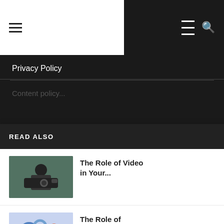Navigation bar with hamburger menu and search icons
Privacy Policy
Content policy...
READ ALSO
[Figure (photo): Person holding a video camera]
The Role of Video in Your...
[Figure (illustration): Gears and person illustration for customised products]
The Role of Customised Products in...
[Figure (photo): Hand pointing at analytics chart on tablet]
How to Improve the Customer's Experience?
[Figure (photo): Business workspace with devices and tools]
Ways To Keep Your Business Website...
egy from?
a blogger?
g Wikipedia Contributors?
proved?